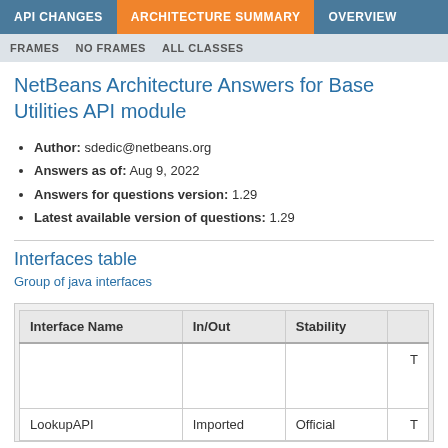API CHANGES | ARCHITECTURE SUMMARY | OVERVIEW | FRAMES | NO FRAMES | ALL CLASSES
NetBeans Architecture Answers for Base Utilities API module
Author: sdedic@netbeans.org
Answers as of: Aug 9, 2022
Answers for questions version: 1.29
Latest available version of questions: 1.29
Interfaces table
Group of java interfaces
| Interface Name | In/Out | Stability |  |
| --- | --- | --- | --- |
| LookupAPI | Imported | Official | T |